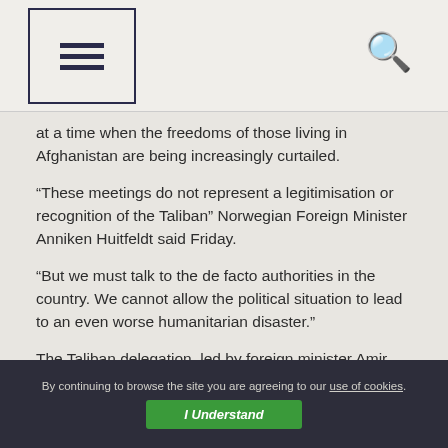Menu / Search header
at a time when the freedoms of those living in Afghanistan are being increasingly curtailed.
“These meetings do not represent a legitimisation or recognition of the Taliban” Norwegian Foreign Minister Anniken Huitfeldt said Friday.
“But we must talk to the de facto authorities in the country. We cannot allow the political situation to lead to an even worse humanitarian disaster.”
The Taliban delegation, led by foreign minister Amir Khan Muttaqi, was due to leave for Oslo on Saturday.
By continuing to browse the site you are agreeing to our use of cookies. I Understand